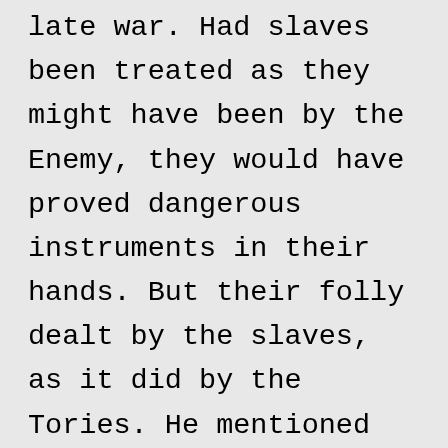late war. Had slaves been treated as they might have been by the Enemy, they would have proved dangerous instruments in their hands. But their folly dealt by the slaves, as it did by the Tories. He mentioned the dangerous insurrections of the slaves in Greece and Sicily; and the instructions given by Cromwell to the Commissioners sent to Virginia, to arm the servants & slaves, in case other means of obtaining its submission should fail. Maryland & Virginia he said had already prohibited the importation of slaves expressly. N. Carolina had done the same in substance. All this would be in vain if S. Carolina & Georgia be at liberty to import. The Western people are already calling out for slaves for their new lands; and will fill that Country